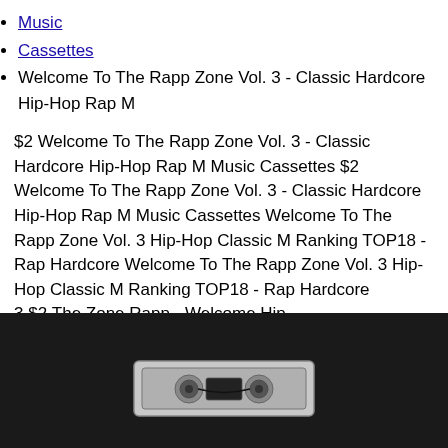Music
Cassettes
Welcome To The Rapp Zone Vol. 3 - Classic Hardcore Hip-Hop Rap M
$2 Welcome To The Rapp Zone Vol. 3 - Classic Hardcore Hip-Hop Rap M Music Cassettes $2 Welcome To The Rapp Zone Vol. 3 - Classic Hardcore Hip-Hop Rap M Music Cassettes Welcome To The Rapp Zone Vol. 3 Hip-Hop Classic M Ranking TOP18 - Rap Hardcore Welcome To The Rapp Zone Vol. 3 Hip-Hop Classic M Ranking TOP18 - Rap Hardcore
3,$2,The,Zone,Rapp,-,Welcome,Hip-Hop,To,Classic,/Eucharist44869.html,Rap,Hardcore,Vol.,Music , Cassettes,M,blackpersonality.com
3,$2,The,Zone,Rapp,-,Welcome,Hip-Hop,To,Classic,/Eucharist44869.html,Rap,Hardcore,Vol.,Music , Cassettes,M,blackpersonality.com
[Figure (photo): Dark background photo showing a cassette tape in plastic wrapping at the bottom of the page]